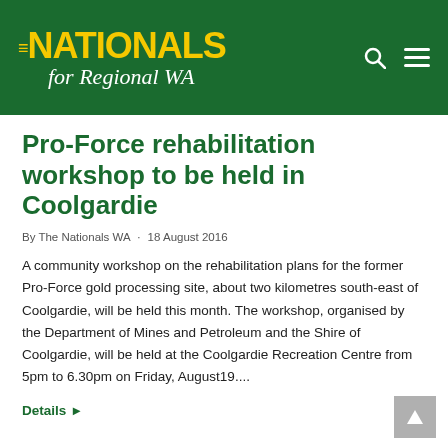[Figure (logo): The Nationals for Regional WA logo — yellow text on dark green background with search and hamburger menu icons]
Pro-Force rehabilitation workshop to be held in Coolgardie
By The Nationals WA · 18 August 2016
A community workshop on the rehabilitation plans for the former Pro-Force gold processing site, about two kilometres south-east of Coolgardie, will be held this month. The workshop, organised by the Department of Mines and Petroleum and the Shire of Coolgardie, will be held at the Coolgardie Recreation Centre from 5pm to 6.30pm on Friday, August19....
Details ▶